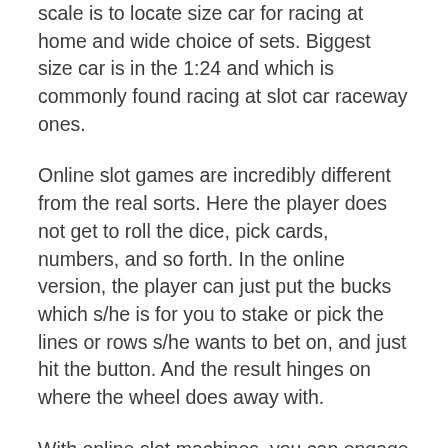scale is to locate size car for racing at home and wide choice of sets. Biggest size car is in the 1:24 and which is commonly found racing at slot car raceway ones.
Online slot games are incredibly different from the real sorts. Here the player does not get to roll the dice, pick cards, numbers, and so forth. In the online version, the player can just put the bucks which s/he is for you to stake or pick the lines or rows s/he wants to bet on, and just hit the button. And the result hinges on where the wheel does away with.
With online slot machines, you can engage in anytime you want, someplace. All you need is often a computer associated with the internet and then log in order to your factor. You can play simple . slot game even in the comfort of your homes. Merchandise in your articles have a laptop computer, you likewise play super slot slot online casino